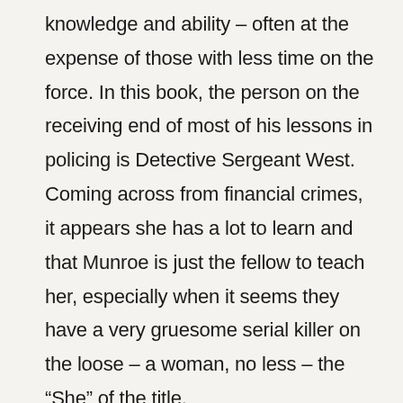knowledge and ability – often at the expense of those with less time on the force. In this book, the person on the receiving end of most of his lessons in policing is Detective Sergeant West. Coming across from financial crimes, it appears she has a lot to learn and that Munroe is just the fellow to teach her, especially when it seems they have a very gruesome serial killer on the loose – a woman, no less – the “She” of the title.